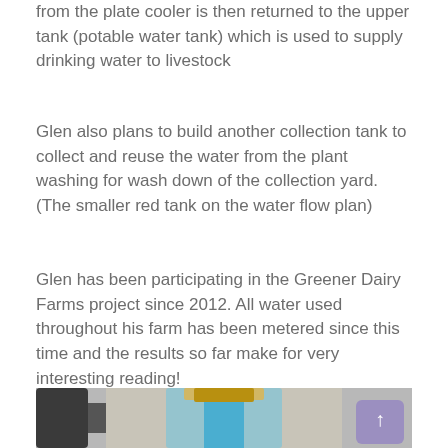from the plate cooler is then returned to the upper tank (potable water tank) which is used to supply drinking water to livestock
Glen also plans to build another collection tank to collect and reuse the water from the plant washing for wash down of the collection yard. (The smaller red tank on the water flow plan)
Glen has been participating in the Greener Dairy Farms project since 2012. All water used throughout his farm has been metered since this time and the results so far make for very interesting reading!
[Figure (photo): Close-up photograph of blue-painted water pipe fittings and connectors against a light background, with a purple scroll-to-top button in the bottom right corner.]